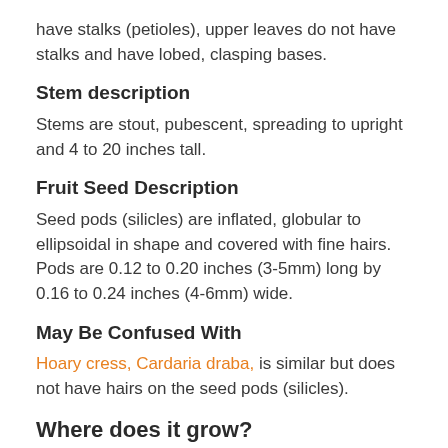have stalks (petioles), upper leaves do not have stalks and have lobed, clasping bases.
Stem description
Stems are stout, pubescent, spreading to upright and 4 to 20 inches tall.
Fruit Seed Description
Seed pods (silicles) are inflated, globular to ellipsoidal in shape and covered with fine hairs. Pods are 0.12 to 0.20 inches (3-5mm) long by 0.16 to 0.24 inches (4-6mm) wide.
May Be Confused With
Hoary cress, Cardaria draba, is similar but does not have hairs on the seed pods (silicles).
Where does it grow?